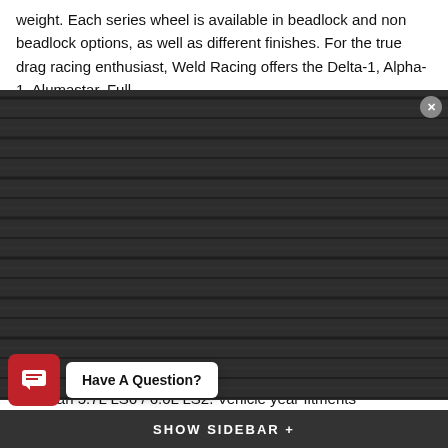weight. Each series wheel is available in beadlock and non beadlock options, as well as different finishes. For the true drag racing enthusiast, Weld Racing offers the Delta-1, Alpha-1, Alumastar, Full
[Figure (screenshot): Promotional popup modal with dark wood-grain background. Headline 'TAKE 10% OFF' in large white bold text. Subheadline 'ON ALL RACE STAR INDUSTRIES'. Series list: 'DRAG STAR | TRUCK STAR | PRO FORGED'. Email input field with placeholder text. Red 'SEND COUPON CODE' button. Fine print and 'Close Popup' link. Close (X) button top right.]
p ac ible traction. Contact us today fo e mpson drag racing tires for the Cadillac CTS-V Sedan 5.7L LS6 / 6.0L LS2. Vehicle year fitments